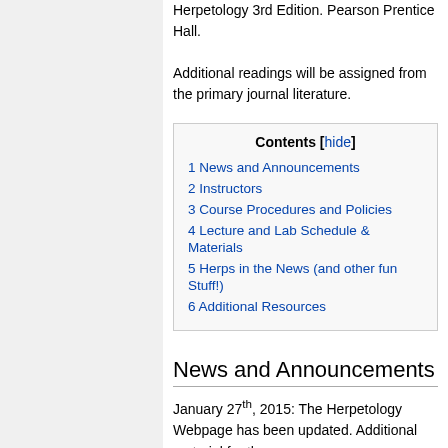Herpetology 3rd Edition. Pearson Prentice Hall.

Additional readings will be assigned from the primary journal literature.
| Contents [hide] |
| 1 News and Announcements |
| 2 Instructors |
| 3 Course Procedures and Policies |
| 4 Lecture and Lab Schedule & Materials |
| 5 Herps in the News (and other fun Stuff!) |
| 6 Additional Resources |
News and Announcements
January 27th, 2015: The Herpetology Webpage has been updated. Additional material for the